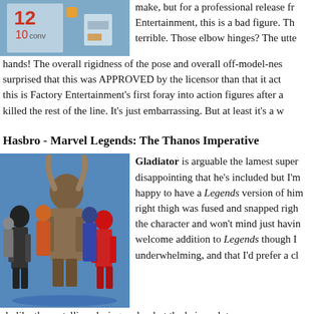[Figure (photo): Partial view of action figure packaging at top of page, blue background with product display]
make, but for a professional release from Factory Entertainment, this is a bad figure. This is terrible. Those elbow hinges? The utter hands! The overall rigidness of the pose and overall off-model-ness... I'm more surprised that this was APPROVED by the licensor than that it actually exists. And this is Factory Entertainment's first foray into action figures after a... killed the rest of the line. It's just embarrassing. But at least it's a w
Hasbro - Marvel Legends: The Thanos Imperative
[Figure (photo): Group photo of multiple Marvel Legends action figures from The Thanos Imperative set, posed against a blue background]
Gladiator is arguable the lamest super... disappointing that he's included but I'm happy to have a Legends version of him... right thigh was fused and snapped right... the character and won't mind just having... welcome addition to Legends though I... underwhelming, and that I'd prefer a cl... do like the metallic coloring on her but the hair sculpt seems very character and her powers. Oh awesome, we're getting a Legends B Yawn. I suppose it's nice to get the character but what a lame desig